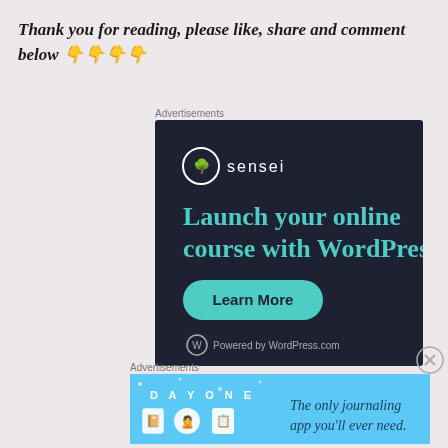Thank you for reading, please like, share and comment below 👇👇👇👇
[Figure (screenshot): Sensei advertisement: dark navy background with Sensei logo (tree icon in circle), text 'Launch your online course with WordPress' in teal, green 'Learn More' button, and 'Powered by WordPress.com' footer]
[Figure (screenshot): Day One journaling app advertisement: light blue background with 'DAY ONE' text and app icons, tagline 'The only journaling app you'll ever need.']